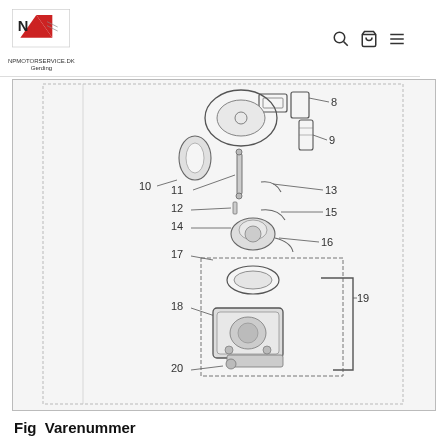NPMOTORSERVICE.DK Gerding
[Figure (engineering-diagram): Exploded parts diagram of engine/carburetor components. Parts are numbered 8 through 20. Components include rings, seals, clips, float bowl, and carburetor body, with leader lines pointing to each part.]
Fig  Varenummer